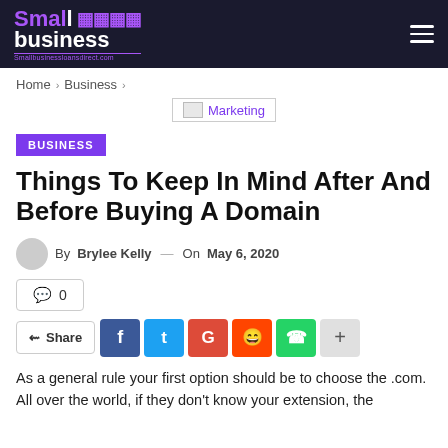Small business Smallbusinessloansdirect.com
Home > Business >
[Figure (other): Marketing banner image with text 'Marketing']
BUSINESS
Things To Keep In Mind After And Before Buying A Domain
By Brylee Kelly — On May 6, 2020
💬 0
Share (Facebook, Twitter, Google+, Reddit, WhatsApp, +)
As a general rule your first option should be to choose the .com. All over the world, if they don't know your extension, the